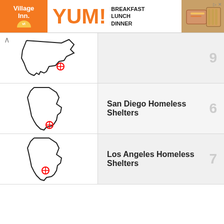[Figure (screenshot): Village Inn advertisement banner with orange logo, YUM! text, BREAKFAST LUNCH DINNER text, and food photo]
[Figure (map): New York state outline with red circle marker indicating a city location (New York City area). Item number 5.]
[Figure (map): California state outline with red circle marker indicating San Diego location. Item number 6.]
San Diego Homeless Shelters
[Figure (map): California state outline with red circle marker indicating Los Angeles location. Item number 7.]
Los Angeles Homeless Shelters